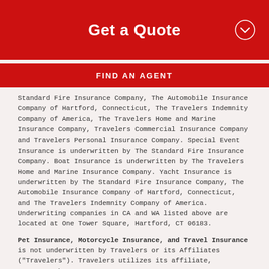Get a Quote
FIND AN AGENT
Standard Fire Insurance Company, The Automobile Insurance Company of Hartford, Connecticut, The Travelers Indemnity Company of America, The Travelers Home and Marine Insurance Company, Travelers Commercial Insurance Company and Travelers Personal Insurance Company. Special Event Insurance is underwritten by The Standard Fire Insurance Company. Boat Insurance is underwritten by The Travelers Home and Marine Insurance Company. Yacht Insurance is underwritten by The Standard Fire Insurance Company, The Automobile Insurance Company of Hartford, Connecticut, and The Travelers Indemnity Company of America. Underwriting companies in CA and WA listed above are located at One Tower Square, Hartford, CT 06183.
Pet Insurance, Motorcycle Insurance, and Travel Insurance is not underwritten by Travelers or its Affiliates ("Travelers"). Travelers utilizes its affiliate, InsuraMatch,